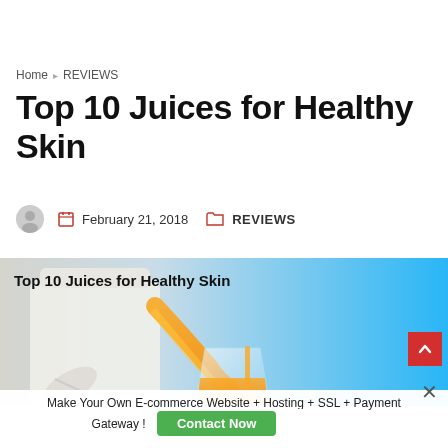Home › REVIEWS
Top 10 Juices for Healthy Skin
February 21, 2018   REVIEWS
[Figure (photo): Hero image showing orange juice being poured into a glass, with the overlay title 'Top 10 Juices for Healthy Skin' on a light blue/teal gradient background]
Make Your Own E-commerce Website + Hosting + SSL + Payment Gateway !
Contact Now